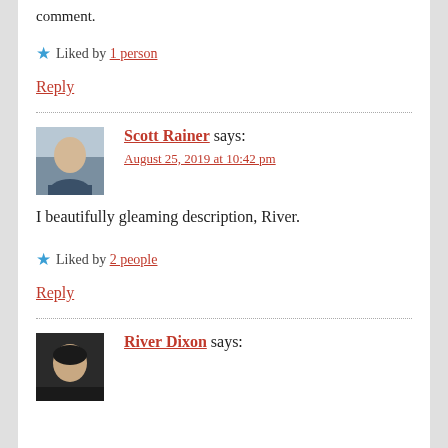comment.
★ Liked by 1 person
Reply
Scott Rainer says:
August 25, 2019 at 10:42 pm
[Figure (photo): Profile photo of Scott Rainer, a smiling man]
I beautifully gleaming description, River.
★ Liked by 2 people
Reply
[Figure (photo): Profile photo of River Dixon]
River Dixon says: